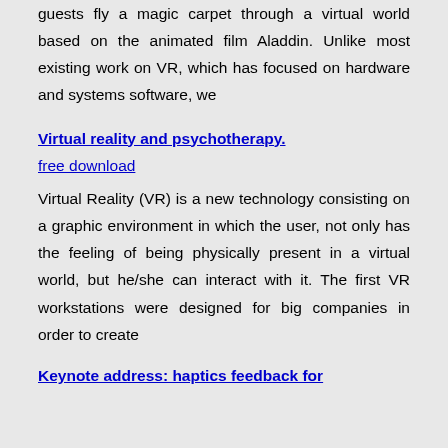guests fly a magic carpet through a virtual world based on the animated film Aladdin. Unlike most existing work on VR, which has focused on hardware and systems software, we
Virtual reality and psychotherapy.
free download
Virtual Reality (VR) is a new technology consisting on a graphic environment in which the user, not only has the feeling of being physically present in a virtual world, but he/she can interact with it. The first VR workstations were designed for big companies in order to create
Keynote address: haptics feedback for